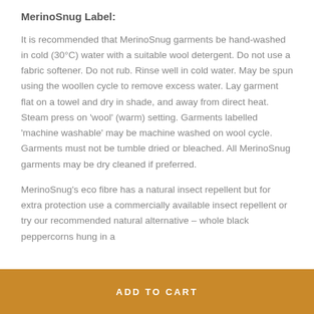MerinoSnug Label:
It is recommended that MerinoSnug garments be hand-washed in cold (30°C) water with a suitable wool detergent. Do not use a fabric softener. Do not rub. Rinse well in cold water. May be spun using the woollen cycle to remove excess water. Lay garment flat on a towel and dry in shade, and away from direct heat. Steam press on 'wool' (warm) setting. Garments labelled 'machine washable' may be machine washed on wool cycle. Garments must not be tumble dried or bleached. All MerinoSnug garments may be dry cleaned if preferred.
MerinoSnug's eco fibre has a natural insect repellent but for extra protection use a commercially available insect repellent or try our recommended natural alternative – whole black peppercorns hung in a
ADD TO CART